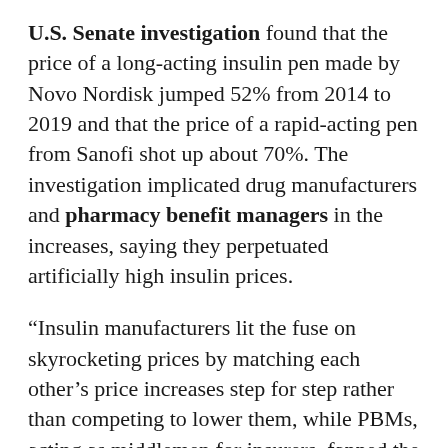U.S. Senate investigation found that the price of a long-acting insulin pen made by Novo Nordisk jumped 52% from 2014 to 2019 and that the price of a rapid-acting pen from Sanofi shot up about 70%. The investigation implicated drug manufacturers and pharmacy benefit managers in the increases, saying they perpetuated artificially high insulin prices.
“Insulin manufacturers lit the fuse on skyrocketing prices by matching each other’s price increases step for step rather than competing to lower them, while PBMs, acting as middlemen for insurers, fanned the flames to take a bigger cut of the secret rebates and hidden fees they negotiate,” U.S. Sen. Ron Wyden (D-Ore.) said when the report was released.
Contacted by KHN for comment, the trade associations that represent brand-name drugmakers, pharmacy benefit managers, and California health